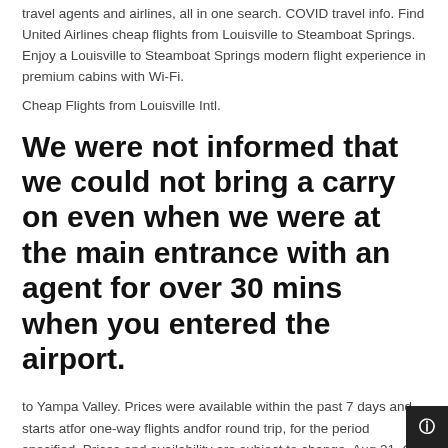travel agents and airlines, all in one search. COVID travel info. Find United Airlines cheap flights from Louisville to Steamboat Springs. Enjoy a Louisville to Steamboat Springs modern flight experience in premium cabins with Wi-Fi.
Cheap Flights from Louisville Intl.
We were not informed that we could not bring a carry on even when we were at the main entrance with an agent for over 30 mins when you entered the airport.
to Yampa Valley. Prices were available within the past 7 days and starts atfor one-way flights andfor round trip, for the period specified. Prices and availability are subject to change. Aug 31, Get cheap flights from Louisville to Hayden with Skyscanner Australia.
Our search engine is a consumer favourite and recommende